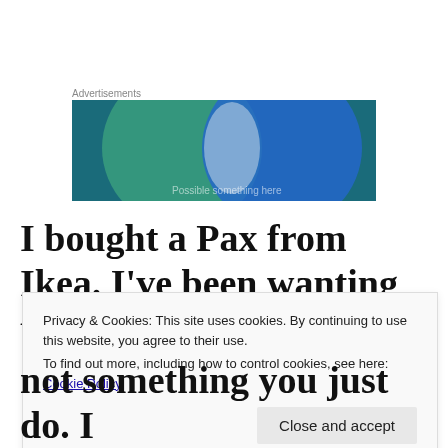Advertisements
[Figure (illustration): Advertisement banner showing two overlapping circles — one green-teal on the left and one blue on the right — against a dark teal/blue background, with partial white text at the bottom.]
I bought a Pax from Ikea. I’ve been wanting to do that for months,
Privacy & Cookies: This site uses cookies. By continuing to use this website, you agree to their use.
To find out more, including how to control cookies, see here: Cookie Policy
Close and accept
not something you just do. I